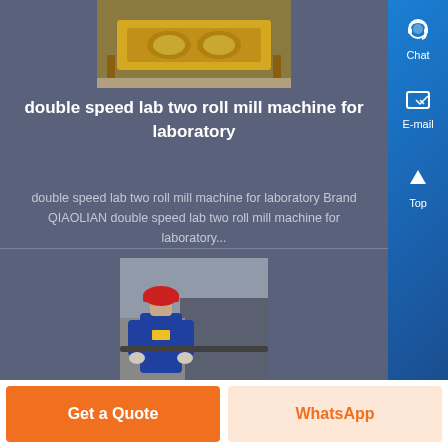[Figure (photo): Yellow industrial roll mill machine on factory floor, viewed from above]
double speed lab two roll mill machine for laboratory
double speed lab two roll mill machine for laboratory Brand QIAOLIAN double speed lab two roll mill machine for laboratory...
[Figure (photo): Worker in blue overalls and red hard hat operating industrial machinery]
Get a Quote
WhatsApp